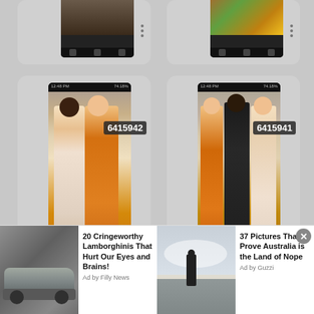[Figure (screenshot): Top-left phone card showing dark image thumbnail at top]
[Figure (screenshot): Top-right phone card showing dark/colorful image thumbnail at top]
[Figure (screenshot): Middle-left phone card showing two women posing together, one in orange dress. Badge shows 6415942.]
[Figure (screenshot): Middle-right phone card showing three people posing together, one in orange dress. Badge shows 6415941.]
[Figure (screenshot): Bottom partial row of phone cards, partially visible]
This website uses cookies to ensure you get the best experience on our website.
Learn more
[Figure (photo): Ad image: silver/gray Lamborghini car]
20 Cringeworthy Lamborghinis That Hurt Our Eyes and Brains!
Ad by Filly News
[Figure (photo): Ad image: person standing in hazy/cloudy landscape, Australia]
37 Pictures That Prove Australia is the Land of Nope
Ad by Guzzi